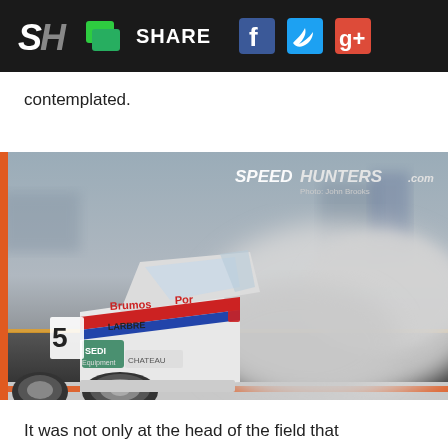SH | [chat icon] SHARE [Facebook] [Twitter] [Google+]
contemplated.
[Figure (photo): A white Porsche racing car with Brumos, SEDI, and LARBRE livery drifting on a race track with large amounts of tire smoke behind it. Speedhunters.com watermark in top right corner. Photo credit: John Brooks.]
It was not only at the head of the field that